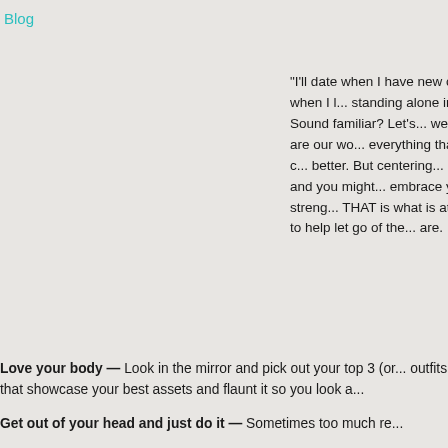Blog
“I’ll date when I have new clothes when I l... standing alone in the... Sound familiar? Let’s... we often are our wo... everything that we c... better. But centering... action and you might... embrace your streng... THAT is what is attra... to help let go of the... are.
Love your body — Look in the mirror and pick out your top 3 (or... outfits that showcase your best assets and flaunt it so you look a...
Get out of your head and just do it — Sometimes too much re...